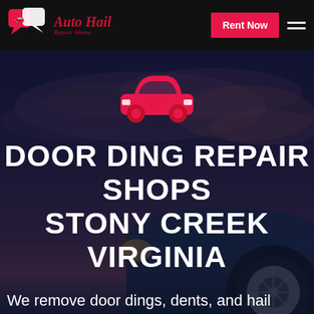Auto Hail Repair Home
[Figure (logo): Auto Hail Repair Home logo with red chat bubble car icon and red italic script text]
[Figure (screenshot): Rent Now button in red/pink background]
[Figure (photo): Dark blue car hero background image with dramatic sky]
[Figure (illustration): Red car icon silhouette]
DOOR DING REPAIR SHOPS STONY CREEK VIRGINIA
We remove door dings, dents, and hail